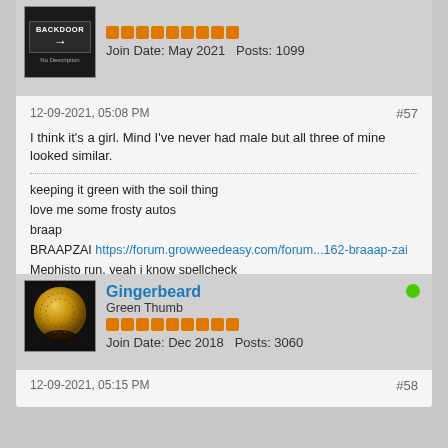[Figure (screenshot): Forum user avatar showing a backdoor sign with arrow]
Join Date: May 2021   Posts: 1099
12-09-2021, 05:08 PM   #57
I think it's a girl. Mind I've never had male but all three of mine looked similar.
keeping it green with the soil thing
love me some frosty autos
braap
BRAAPZAI https://forum.growweedeasy.com/forum...162-braaap-zai
Mephisto run. yeah i know spellcheck
https://forum.growweedeasy.com/forum...-memphisto-run
the fruit basket https://forum.growweedeasy.com/forum...et-auto-runrun
blue strawberries in a four assed galaxy
https://forum.growweedeasy.com/forum...r-assed-galaxy
[Figure (photo): Forum user avatar for Gingerbeard showing a golden spherical object]
Gingerbeard
Green Thumb
Join Date: Dec 2018   Posts: 3060
12-09-2021, 05:15 PM   #58